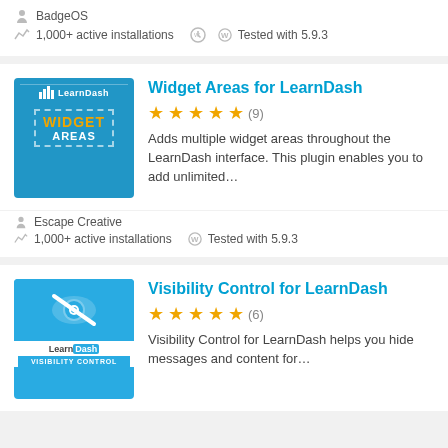BadgeOS
1,000+ active installations   Tested with 5.9.3
[Figure (illustration): LearnDash Widget Areas plugin logo: blue background with dashed border, bar chart icon, LearnDash text, WIDGET AREAS text in orange/white]
Widget Areas for LearnDash
★★★★★ (9)
Adds multiple widget areas throughout the LearnDash interface. This plugin enables you to add unlimited…
Escape Creative
1,000+ active installations   Tested with 5.9.3
[Figure (illustration): Visibility Control for LearnDash plugin logo: blue background with eye-with-slash icon, LearnDash banner, VISIBILITY CONTROL label]
Visibility Control for LearnDash
★★★★★ (6)
Visibility Control for LearnDash helps you hide messages and content for…